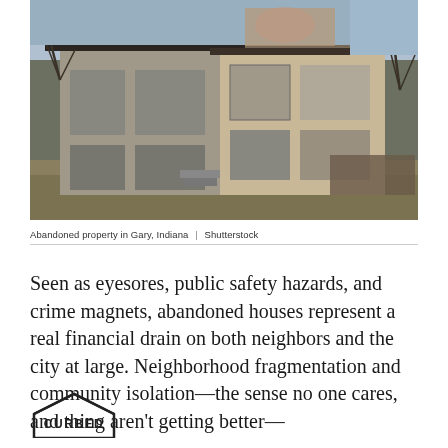[Figure (photo): Abandoned two-story house in Gary, Indiana, with boarded-up windows, overgrown vegetation, bare trees in winter, brick exterior, and a deteriorating facade.]
Abandoned property in Gary, Indiana  |  Shutterstock
Seen as eyesores, public safety hazards, and crime magnets, abandoned houses represent a real financial drain on both neighbors and the city at large. Neighborhood fragmentation and community isolation—the sense no one cares, and thing aren't getting better—
[Figure (logo): Curbed logo — house-shaped outline with CURBED text inside in bold serif letters]